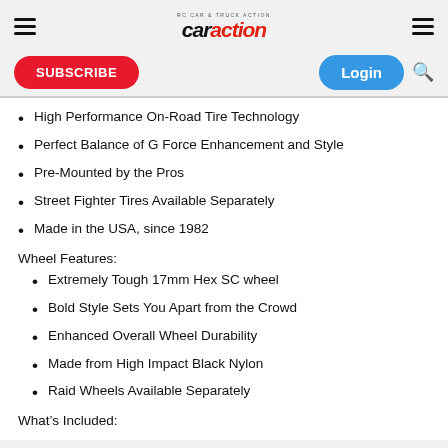RC Car Action - car action logo
High Performance On-Road Tire Technology
Perfect Balance of G Force Enhancement and Style
Pre-Mounted by the Pros
Street Fighter Tires Available Separately
Made in the USA, since 1982
Wheel Features:
Extremely Tough 17mm Hex SC wheel
Bold Style Sets You Apart from the Crowd
Enhanced Overall Wheel Durability
Made from High Impact Black Nylon
Raid Wheels Available Separately
What's Included: